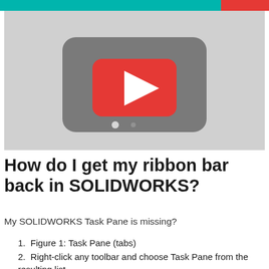[Figure (screenshot): YouTube video thumbnail placeholder showing a grey background with a dark grey rounded rectangle and a red YouTube play button in the center.]
How do I get my ribbon bar back in SOLIDWORKS?
My SOLIDWORKS Task Pane is missing?
Figure 1: Task Pane (tabs)
Right-click any toolbar and choose Task Pane from the resulting list.